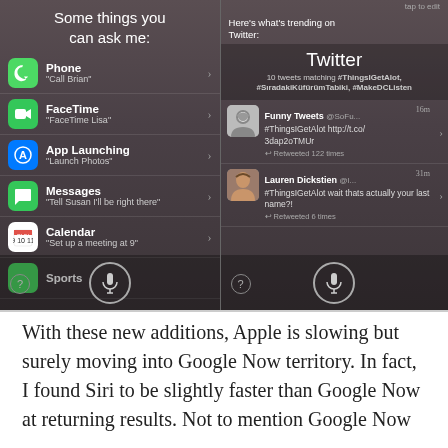[Figure (screenshot): Two iPhone Siri screenshots side by side. Left: 'Some things you can ask me:' with list items Phone, FaceTime, App Launching, Messages, Calendar, Sports. Right: Twitter trending results showing '#ThingsIGetAlot, #SıradakiKüfürümTabiki, #MakeDCListen' with tweets from Funny Tweets and Lauren Dickstien.]
With these new additions, Apple is slowing but surely moving into Google Now territory. In fact, I found Siri to be slightly faster than Google Now at returning results. Not to mention Google Now